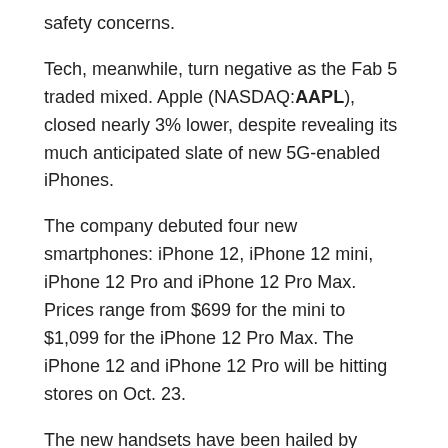safety concerns.
Tech, meanwhile, turn negative as the Fab 5 traded mixed. Apple (NASDAQ:AAPL), closed nearly 3% lower, despite revealing its much anticipated slate of new 5G-enabled iPhones.
The company debuted four new smartphones: iPhone 12, iPhone 12 mini, iPhone 12 Pro and iPhone 12 Pro Max. Prices range from $699 for the mini to $1,099 for the iPhone 12 Pro Max. The iPhone 12 and iPhone 12 Pro will be hitting stores on Oct. 23.
The new handsets have been hailed by some as a game changer to the company’s upgrade cycle.
Amazon.com (NASDAQ:AMZN) pared gains to end flat as